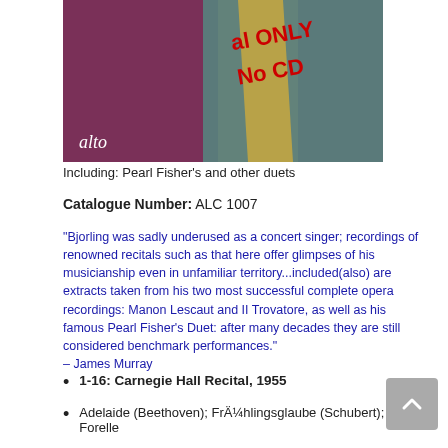[Figure (photo): Album cover image showing 'alto' text and red diagonal text reading 'al ONLY No CD' on a purple/teal background with a suited figure]
Including: Pearl Fisher's and other duets
Catalogue Number: ALC 1007
“Bjorling was sadly underused as a concert singer; recordings of renowned recitals such as that here offer glimpses of his musicianship even in unfamiliar territory...included(also) are extracts taken from his two most successful complete opera recordings: Manon Lescaut and II Trovatore, as well as his famous Pearl Fisher’s Duet: after many decades they are still considered benchmark performances.”
– James Murray
1-16: Carnegie Hall Recital, 1955
Adelaide (Beethoven); FrÄ¼hlingsglaube (Schubert); Die Forelle